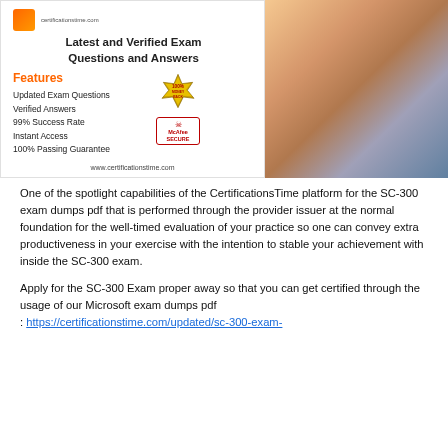[Figure (infographic): CertificationsTime banner with logo, 'Latest and Verified Exam Questions and Answers' heading, Features list (Updated Exam Questions, Verified Answers, 99% Success Rate, Instant Access, 100% Passing Guarantee), 100% Money Back badge, McAfee Secure badge, website URL www.certificationstime.com, and a photo of a woman working on a laptop.]
One of the spotlight capabilities of the CertificationsTime platform for the SC-300 exam dumps pdf that is performed through the provider issuer at the normal foundation for the well-timed evaluation of your practice so one can convey extra productiveness in your exercise with the intention to stable your achievement with inside the SC-300 exam.
Apply for the SC-300 Exam proper away so that you can get certified through the usage of our Microsoft exam dumps pdf : https://certificationstime.com/updated/sc-300-exam-